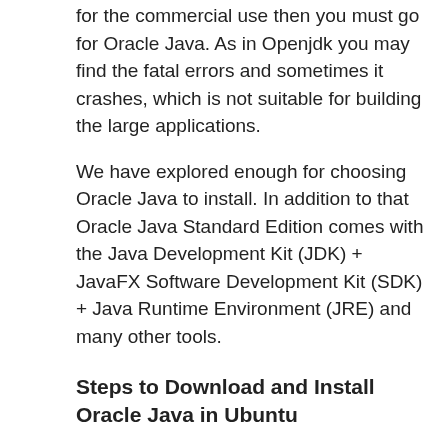for the commercial use then you must go for Oracle Java. As in Openjdk you may find the fatal errors and sometimes it crashes, which is not suitable for building the large applications.
We have explored enough for choosing Oracle Java to install. In addition to that Oracle Java Standard Edition comes with the Java Development Kit (JDK) + JavaFX Software Development Kit (SDK) + Java Runtime Environment (JRE) and many other tools.
Steps to Download and Install Oracle Java in Ubuntu
Step 1: For downloading the Oracle Java you need to visit the website www.oracle.com.
Go to the Downloads tab and click on it.